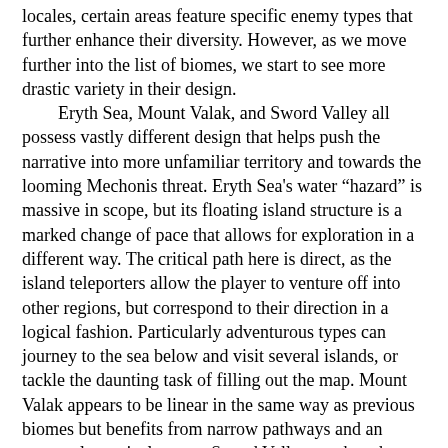locales, certain areas feature specific enemy types that further enhance their diversity. However, as we move further into the list of biomes, we start to see more drastic variety in their design.
	Eryth Sea, Mount Valak, and Sword Valley all possess vastly different design that helps push the narrative into more unfamiliar territory and towards the looming Mechonis threat. Eryth Sea's water “hazard” is massive in scope, but its floating island structure is a marked change of pace that allows for exploration in a different way. The critical path here is direct, as the island teleporters allow the player to venture off into other regions, but correspond to their direction in a logical fashion. Particularly adventurous types can journey to the sea below and visit several islands, or tackle the daunting task of filling out the map. Mount Valak appears to be linear in the same way as previous biomes but benefits from narrow pathways and an extremely vertical nature. Sword Valley, on the other hand, is straightforward, as its dead ends do not offer much experimentation, but its tight corridors and more rigid structure give a more industrious and mechanical feeling.
	Progressing further through the game offers insight to several of its more dungeon-like sequences, and the nature of Monolith’s dungeon design, in general. At its most delightful and satisfying moments, XC’s dungeons are directly integrated with its world design. Exile Fortress, for example, not only bears significance as one of the first areas where Giants are mentioned, but it is also a